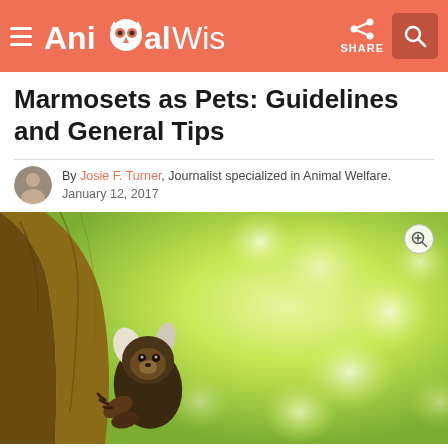AnimalWised — navigation header with logo, share button, and search button
Marmosets as Pets: Guidelines and General Tips
By Josie F. Turner, Journalist specialized in Animal Welfare. January 12, 2017
[Figure (photo): A marmoset monkey clinging to the side of a tree trunk, looking upward. Background is a soft bokeh of green foliage and light.]